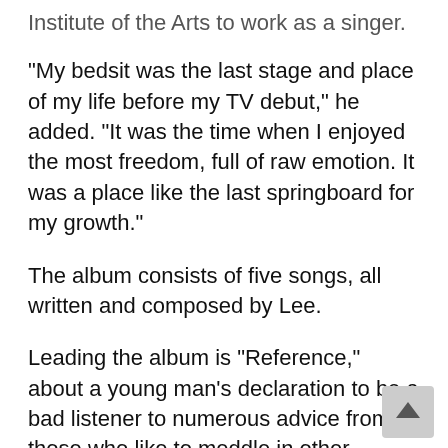Institute of the Arts to work as a singer.
"My bedsit was the last stage and place of my life before my TV debut," he added. "It was the time when I enjoyed the most freedom, full of raw emotion. It was a place like the last springboard for my growth."
The album consists of five songs, all written and composed by Lee.
Leading the album is "Reference," about a young man's declaration to be a bad listener to numerous advice from those who like to meddle in other people's business but are not true teachers.
Lee also contained his autobiographical story ranging from his childhood to when he prepared for